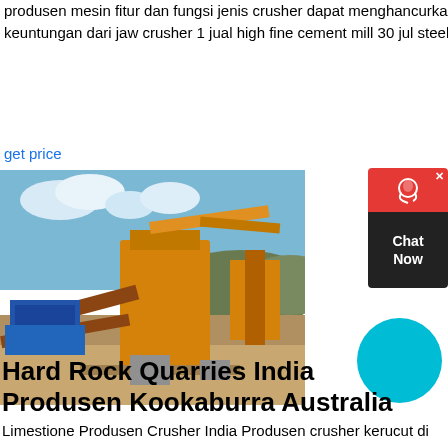produsen mesin fitur dan fungsi jenis crusher dapat menghancurkan bahan menengah keras dan ringan, seperti batu karakteristik dan keuntungan dari jaw crusher 1 jual high fine cement mill 30 jul steel ball coal mill Chat Online karakteristik jaw crusher calibreofficefurniturecoza.
get price
[Figure (photo): Outdoor mining/quarry machinery site showing large yellow crushing and screening equipment against a blue sky background]
[Figure (other): Chat Now widget with red top section featuring headset icon and X close button, dark bottom section with Chat Now text]
[Figure (other): Solid cyan/teal circle UI element]
Hard Rock Quarries India Produsen Kookaburra Australia
Limestione Produsen Crusher India Produsen crusher kerucut di